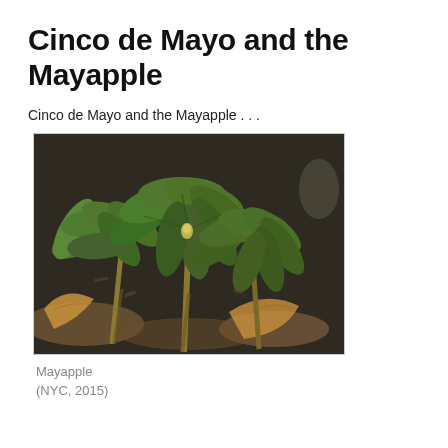Cinco de Mayo and the Mayapple
Cinco de Mayo and the Mayapple . . .
[Figure (photo): Mayapple plants with large umbrella-like lobed green leaves growing from stems, surrounded by dead leaves and dark soil on the forest floor. Photo taken in NYC, 2015.]
Mayapple
(NYC, 2015)